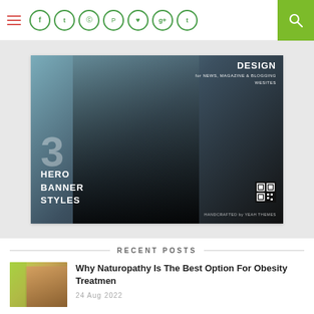Navigation bar with hamburger menu, social icons (f, twitter, instagram, pinterest, heart, g+, t), and search button
[Figure (photo): Promotional banner image showing a woman in a black dress with text: DESIGN for NEWS, MAGAZINE & BLOGGING WEBSITES, 3 HERO BANNER STYLES, handcrafted by YEAH THEMES, with a QR code]
RECENT POSTS
[Figure (photo): Thumbnail image of a person's midsection showing belly fat and a measuring tape]
Why Naturopathy Is The Best Option For Obesity Treatmen
24 Aug 2022